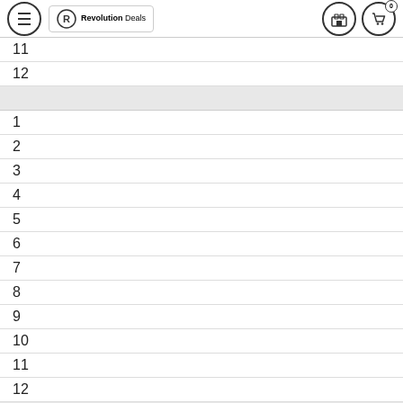Revolution Deals navigation header
11
12
1
2
3
4
5
6
7
8
9
10
11
12
1
2